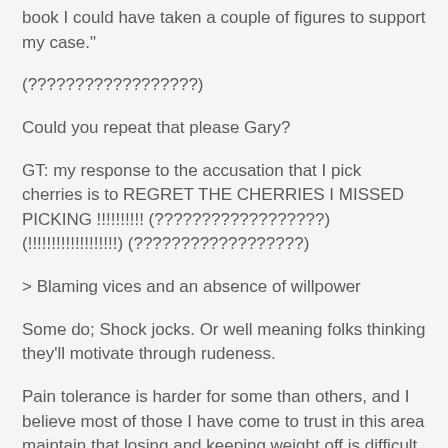book I could have taken a couple of figures to support my case."
(??????????????????)
Could you repeat that please Gary?
GT: my response to the accusation that I pick cherries is to REGRET THE CHERRIES I MISSED PICKING !!!!!!!!!! (??????????????????) (!!!!!!!!!!!!!!!!!!!) (??????????????????)
> Blaming vices and an absence of willpower
Some do; Shock jocks. Or well meaning folks thinking they'll motivate through rudeness.
Pain tolerance is harder for some than others, and I believe most of those I have come to trust in this area maintain that losing and keeping weight off is difficult and hunger is a difficult beast to struggle with. They keep abreast of the research hoping to make it easier for their clients. I've seen these folks change their opinion when the studies come